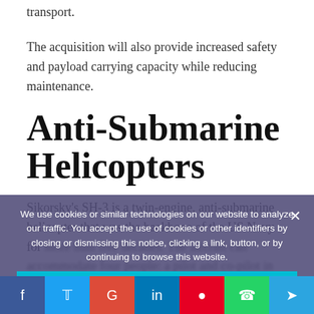transport.
The acquisition will also provide increased safety and payload carrying capacity while reducing maintenance.
Anti-Submarine Helicopters
Sikorsky’s SH-3 is a twin-engine, anti-submarine helicopter that was the backbone of the US Navy for more than five decades. The aircraft can accommodate four people: a pilot and co-pilot in the cockpit, and two aircrews within the main cabin area.
We use cookies or similar technologies on our website to analyze our traffic. You accept the use of cookies or other identifiers by closing or dismissing this notice, clicking a link, button, or by continuing to browse this website.